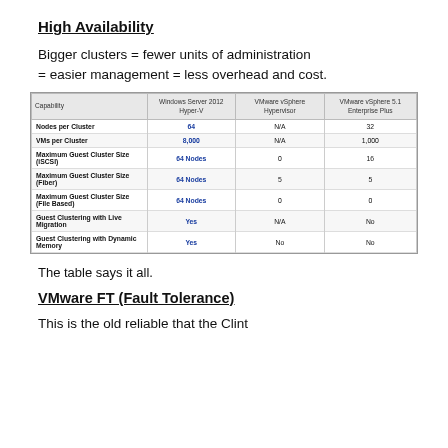High Availability
Bigger clusters = fewer units of administration = easier management = less overhead and cost.
| Capability | Windows Server 2012 Hyper-V | VMware vSphere Hypervisor | VMware vSphere 5.1 Enterprise Plus |
| --- | --- | --- | --- |
| Nodes per Cluster | 64 | N/A | 32 |
| VMs per Cluster | 8,000 | N/A | 1,000 |
| Maximum Guest Cluster Size (iSCSI) | 64 Nodes | 0 | 16 |
| Maximum Guest Cluster Size (Fiber) | 64 Nodes | 5 | 5 |
| Maximum Guest Cluster Size (File Based) | 64 Nodes | 0 | 0 |
| Guest Clustering with Live Migration | Yes | N/A | No |
| Guest Clustering with Dynamic Memory | Yes | No | No |
The table says it all.
VMware FT (Fault Tolerance)
This is the old reliable that the Clint